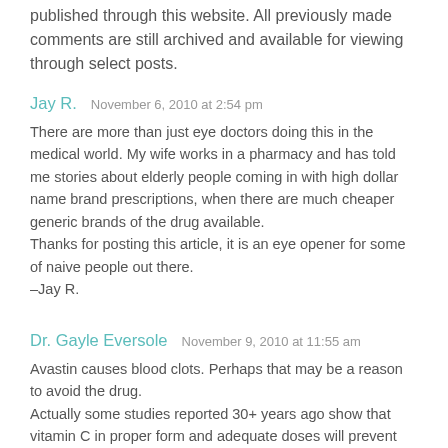published through this website. All previously made comments are still archived and available for viewing through select posts.
Jay R.   November 6, 2010 at 2:54 pm
There are more than just eye doctors doing this in the medical world. My wife works in a pharmacy and has told me stories about elderly people coming in with high dollar name brand prescriptions, when there are much cheaper generic brands of the drug available.
Thanks for posting this article, it is an eye opener for some of naive people out there.
-Jay R.
Dr. Gayle Eversole   November 9, 2010 at 11:55 am
Avastin causes blood clots. Perhaps that may be a reason to avoid the drug.
Actually some studies reported 30+ years ago show that vitamin C in proper form and adequate doses will prevent macular degeneration. Other natural approaches have been studied and shown to be effective.